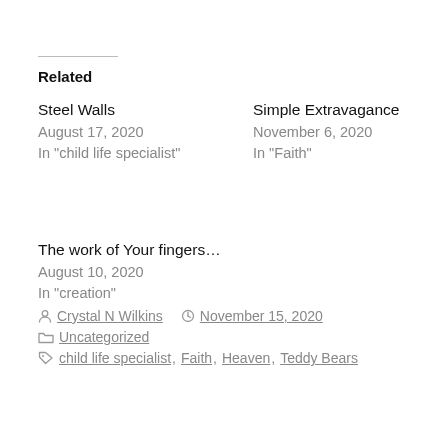Related
Steel Walls
August 17, 2020
In "child life specialist"
Simple Extravagance
November 6, 2020
In "Faith"
The work of Your fingers…
August 10, 2020
In "creation"
Crystal N Wilkins  November 15, 2020  Uncategorized  child life specialist, Faith, Heaven, Teddy Bears